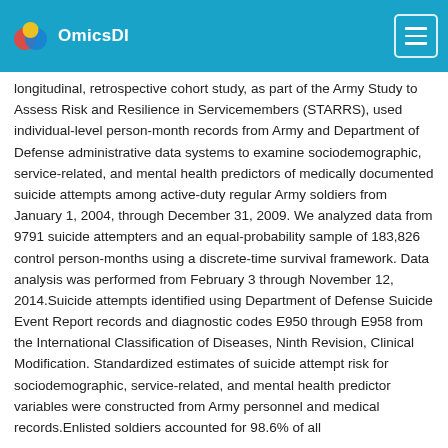OmicsDI
longitudinal, retrospective cohort study, as part of the Army Study to Assess Risk and Resilience in Servicemembers (STARRS), used individual-level person-month records from Army and Department of Defense administrative data systems to examine sociodemographic, service-related, and mental health predictors of medically documented suicide attempts among active-duty regular Army soldiers from January 1, 2004, through December 31, 2009. We analyzed data from 9791 suicide attempters and an equal-probability sample of 183,826 control person-months using a discrete-time survival framework. Data analysis was performed from February 3 through November 12, 2014.Suicide attempts identified using Department of Defense Suicide Event Report records and diagnostic codes E950 through E958 from the International Classification of Diseases, Ninth Revision, Clinical Modification. Standardized estimates of suicide attempt risk for sociodemographic, service-related, and mental health predictor variables were constructed from Army personnel and medical records.Enlisted soldiers accounted for 98.6% of all